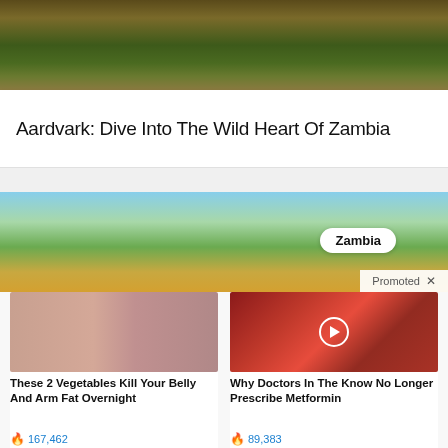[Figure (photo): Wildlife scene with elephants near a river with muddy banks and green vegetation]
Aardvark: Dive Into The Wild Heart Of Zambia
[Figure (photo): Landscape photo of Zambia with blue sky, trees, and dry earth. Badge reading 'Zambia' and 'Promoted X' bar.]
[Figure (photo): Before and after weight loss photo showing two women in black bras from behind]
These 2 Vegetables Kill Your Belly And Arm Fat Overnight
🔥 167,462
[Figure (photo): Medical image of organs with a play button overlay]
Why Doctors In The Know No Longer Prescribe Metformin
🔥 89,383